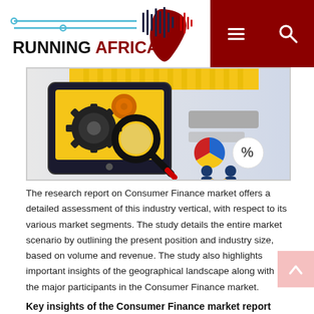RUNNINGAFRICA
[Figure (illustration): Market research illustration showing a tablet with magnifying glass, gears, pie chart icon, and percentage symbol icon on a light background with yellow and gray elements]
The research report on Consumer Finance market offers a detailed assessment of this industry vertical, with respect to its various market segments. The study details the entire market scenario by outlining the present position and industry size, based on volume and revenue. The study also highlights important insights of the geographical landscape along with the major participants in the Consumer Finance market.
Key insights of the Consumer Finance market report